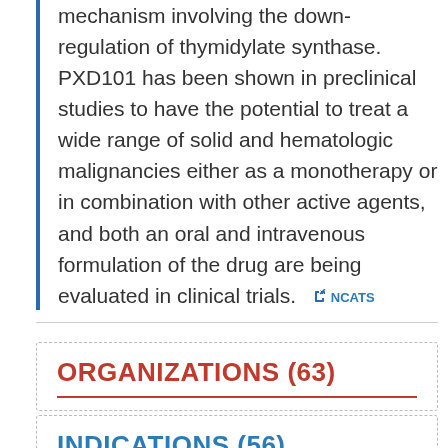mechanism involving the down-regulation of thymidylate synthase. PXD101 has been shown in preclinical studies to have the potential to treat a wide range of solid and hematologic malignancies either as a monotherapy or in combination with other active agents, and both an oral and intravenous formulation of the drug are being evaluated in clinical trials. [NCATS]
ORGANIZATIONS (63)
INDICATIONS (56)